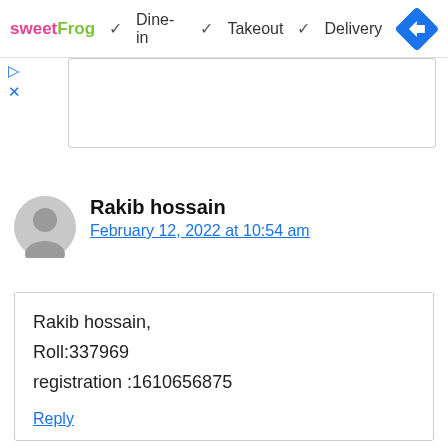[Figure (screenshot): Advertisement banner for sweetFrog showing Dine-in, Takeout, Delivery options with checkmarks and a navigation/directions icon]
Reply
Rakib hossain
February 12, 2022 at 10:54 am
Rakib hossain,
Roll:337969
registration :1610656875
Reply